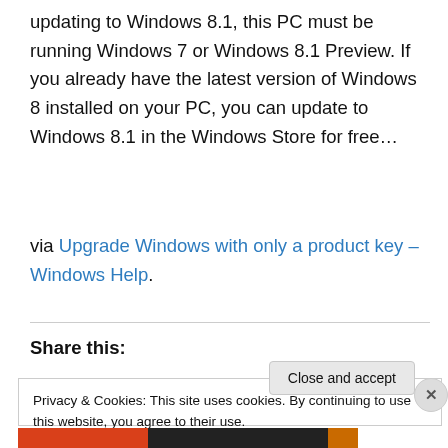updating to Windows 8.1, this PC must be running Windows 7 or Windows 8.1 Preview. If you already have the latest version of Windows 8 installed on your PC, you can update to Windows 8.1 in the Windows Store for free…
via Upgrade Windows with only a product key – Windows Help.
Share this:
Privacy & Cookies: This site uses cookies. By continuing to use this website, you agree to their use.
To find out more, including how to control cookies, see here: Cookie Policy